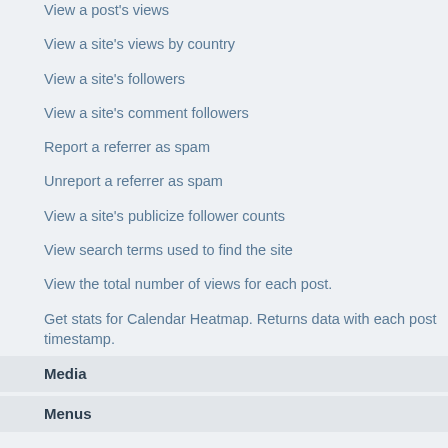View a post's views
View a site's views by country
View a site's followers
View a site's comment followers
Report a referrer as spam
Unreport a referrer as spam
View a site's publicize follower counts
View search terms used to find the site
View the total number of views for each post.
Get stats for Calendar Heatmap. Returns data with each post timestamp.
Media
Menus